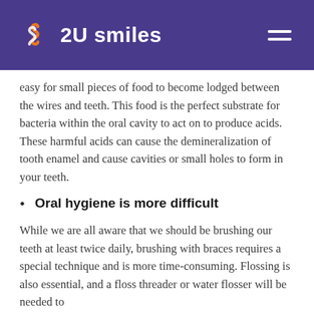2U smiles
easy for small pieces of food to become lodged between the wires and teeth. This food is the perfect substrate for bacteria within the oral cavity to act on to produce acids. These harmful acids can cause the demineralization of tooth enamel and cause cavities or small holes to form in your teeth.
Oral hygiene is more difficult
While we are all aware that we should be brushing our teeth at least twice daily, brushing with braces requires a special technique and is more time-consuming. Flossing is also essential, and a floss threader or water flosser will be needed to